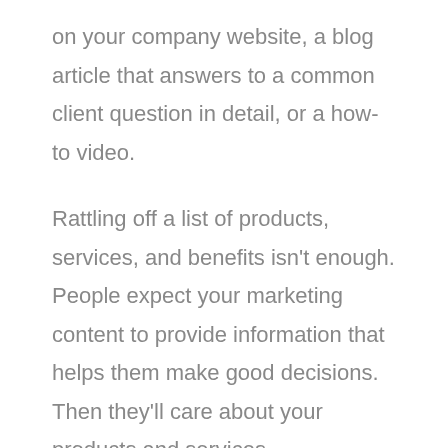on your company website, a blog article that answers to a common client question in detail, or a how-to video.
Rattling off a list of products, services, and benefits isn't enough. People expect your marketing content to provide information that helps them make good decisions. Then they'll care about your products and services.
When your content educates, you build confidence in your solutions and your organization as the provider of those